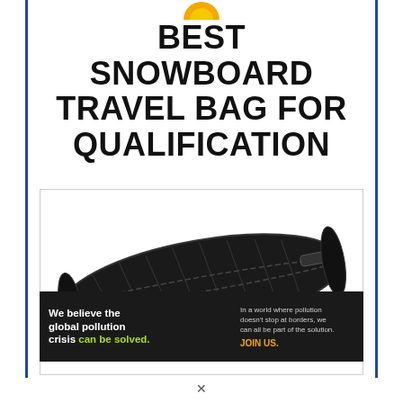[Figure (logo): Orange and yellow circular logo/icon at top center]
BEST SNOWBOARD TRAVEL BAG FOR QUALIFICATION
[Figure (photo): A black rolling snowboard travel bag lying diagonally on a white background]
[Figure (infographic): Pure Earth advertisement banner: 'We believe the global pollution crisis can be solved. In a world where pollution doesn't stop at borders, we can all be part of the solution. JOIN US.' with Pure Earth logo.]